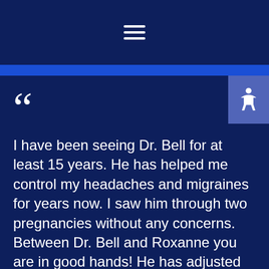Navigation menu (hamburger icon)
““ I have been seeing Dr. Bell for at least 15 years. He has helped me control my headaches and migraines for years now. I saw him through two pregnancies without any concerns. Between Dr. Bell and Roxanne you are in good hands! He has adjusted both my children for a couple years as well. It is a great support to their health. My sons asthma has been under control since we added chiropractic care. I